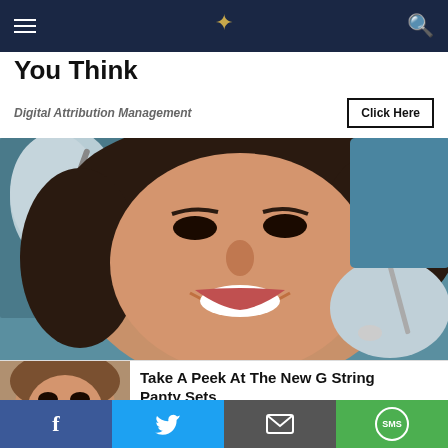Navigation bar with menu, logo, and search
You Think
Digital Attribution Management
Click Here
[Figure (photo): Woman smiling at dentist appointment, dental tools visible]
[Figure (photo): Woman smiling - advertisement image]
Take A Peek At The New G String Panty Sets
G String | Sponsored
Social share bar: Facebook, Twitter, Email, SMS